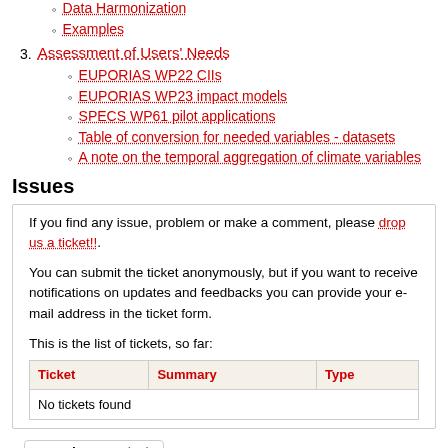Data Harmonization
Examples
3. Assessment of Users' Needs
EUPORIAS WP22 CIIs
EUPORIAS WP23 impact models
SPECS WP61 pilot applications
Table of conversion for needed variables - datasets
A note on the temporal aggregation of climate variables
Issues
If you find any issue, problem or make a comment, please drop us a ticket!!.
You can submit the ticket anonymously, but if you want to receive notifications on updates and feedbacks you can provide your e-mail address in the ticket form.
This is the list of tickets, so far:
| Ticket | Summary | Type |
| --- | --- | --- |
| No tickets found |  |  |
Attachments (18)
Download in other formats:
Plain Text | PDF Article | PDF Book | Printable HTML